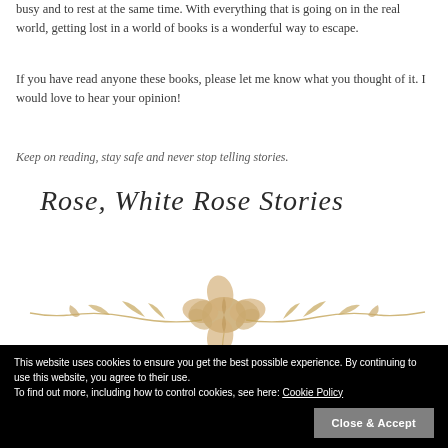busy and to rest at the same time. With everything that is going on in the real world, getting lost in a world of books is a wonderful way to escape.
If you have read anyone these books, please let me know what you thought of it. I would love to hear your opinion!
Keep on reading, stay safe and never stop telling stories.
Rose, White Rose Stories
[Figure (illustration): Decorative rose illustration in golden/tan line art style]
This website uses cookies to ensure you get the best possible experience. By continuing to use this website, you agree to their use. To find out more, including how to control cookies, see here: Cookie Policy